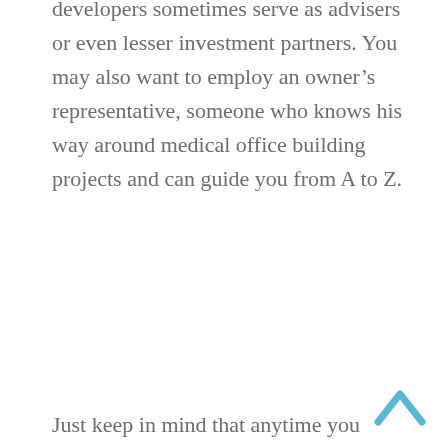You may be able to strike a different relationship; developers sometimes serve as advisers or even lesser investment partners. You may also want to employ an owner's representative, someone who knows his way around medical office building projects and can guide you from A to Z.
Just keep in mind that anytime you work with a third party, you can expect to pay a fee or percentage of the action in return for that backing and/or expertise. On the other hand, the money might be worth the investment, especially if you're skittish about the risk.
“What a lot of doctors have to realize is that people are in business to make money,” says Dayton. “Doctors like to think that every time they pay